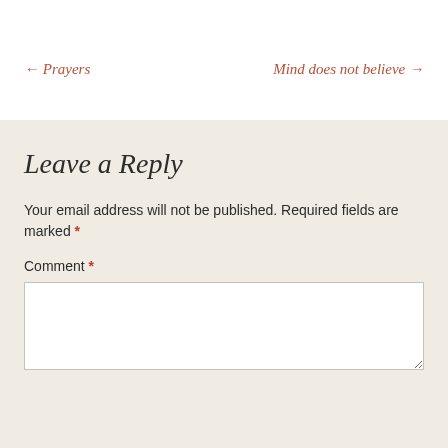← Prayers
Mind does not believe →
Leave a Reply
Your email address will not be published. Required fields are marked *
Comment *